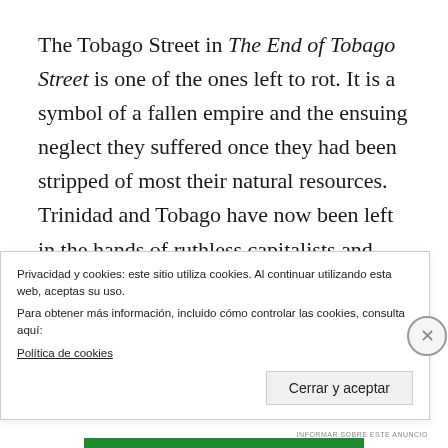The Tobago Street in The End of Tobago Street is one of the ones left to rot. It is a symbol of a fallen empire and the ensuing neglect they suffered once they had been stripped of most their natural resources. Trinidad and Tobago have now been left in the hands of ruthless capitalists and indigenous local criminals to be stripped even further without the islanders receiving a proper penny for the riches that were, and still are,
Privacidad y cookies: este sitio utiliza cookies. Al continuar utilizando esta web, aceptas su uso.
Para obtener más información, incluido cómo controlar las cookies, consulta aquí:
Política de cookies
Cerrar y aceptar